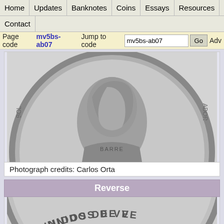Home | Updates | Banknotes | Coins | Essays | Resources | Sections | Contact
Page code mv5bs-ab07  Jump to code mv5bs-ab07  Go  Adv
[Figure (photo): Close-up photograph of obverse of a silver coin showing a profile portrait bust with text BARRE at bottom, milled edge visible]
Photograph credits: Carlos Orta
Reverse
[Figure (photo): Close-up photograph of reverse of a silver coin showing text UNIDOS DE VE... with decorative wreath, milled edge visible at top]